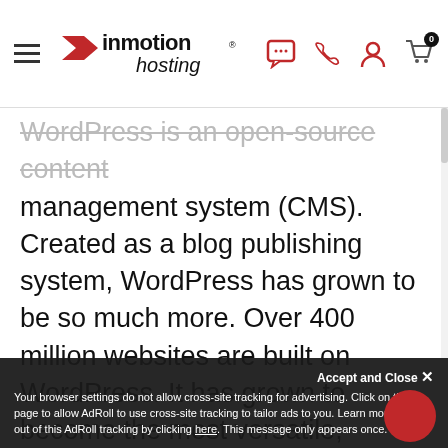InMotion Hosting
WordPress is an open-source content management system (CMS). Created as a blog publishing system, WordPress has grown to be so much more. Over 400 million websites are built on WordPress. It has grown to become the most versatile, scalable, and customizable content management system solution in use.
But to launch your WordPress site, you need WordPress web hosting. At InMotion Hosting, our WordPress plans are designed for developers, designers, and all-around fans. Hosting WordPress is our
Your browser settings do not allow cross-site tracking for advertising. Click on this page to allow AdRoll to use cross-site tracking to tailor ads to you. Learn more or opt out of this AdRoll tracking by clicking here. This message only appears once.